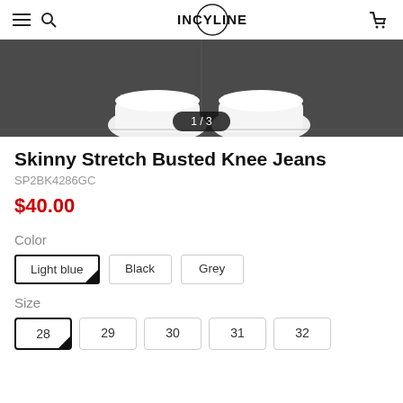INCYLINE
[Figure (photo): Product photo showing white sneakers from above on a dark floor, image counter showing 1/3]
Skinny Stretch Busted Knee Jeans
SP2BK4286GC
$40.00
Color
Light blue | Black | Grey
Size
28 | 29 | 30 | 31 | 32